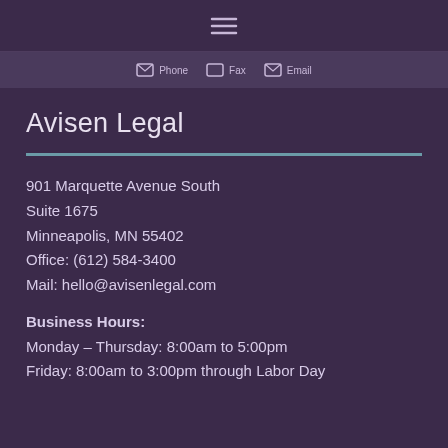☰ (hamburger menu icon)
Phone | Fax | Email (nav bar icons)
Avisen Legal
901 Marquette Avenue South
Suite 1675
Minneapolis, MN 55402
Office: (612) 584-3400
Mail: hello@avisenlegal.com
Business Hours:
Monday – Thursday: 8:00am to 5:00pm
Friday: 8:00am to 3:00pm through Labor Day